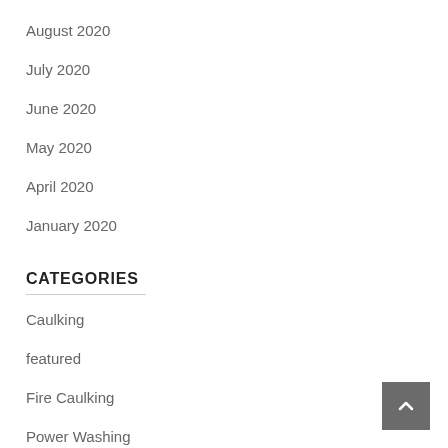August 2020
July 2020
June 2020
May 2020
April 2020
January 2020
CATEGORIES
Caulking
featured
Fire Caulking
Power Washing